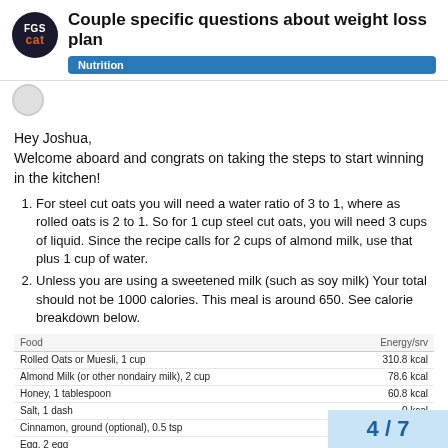Couple specific questions about weight loss plan
Nutrition
Hey Joshua,
Welcome aboard and congrats on taking the steps to start winning in the kitchen!
For steel cut oats you will need a water ratio of 3 to 1, where as rolled oats is 2 to 1. So for 1 cup steel cut oats, you will need 3 cups of liquid. Since the recipe calls for 2 cups of almond milk, use that plus 1 cup of water.
Unless you are using a sweetened milk (such as soy milk) Your total should not be 1000 calories. This meal is around 650. See calorie breakdown below.
| Food | Energy/srv |
| --- | --- |
| Rolled Oats or Muesli, 1 cup | 310.8 kcal |
| Almond Milk (or other nondairy milk), 2 cup | 78.6 kcal |
| Honey, 1 tablespoon | 60.8 kcal |
| Salt, 1 dash | 0 kcal |
| Cinnamon, ground (optional), 0.5 tsp | 3.7 kcal |
| Egg, 2 egg | 123 kcal |
| Blueberries (can sub a banana, apple or 1 cup of any berries), 1 cup |  |
| TOTAL |  |
4 / 7